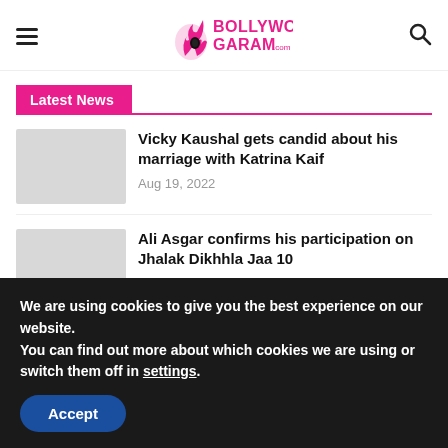Bollywood Garam .com
Latest News
Vicky Kaushal gets candid about his marriage with Katrina Kaif
Aug 19, 2022
Ali Asgar confirms his participation on Jhalak Dikhhla Jaa 10
Aug 18, 2022
We are using cookies to give you the best experience on our website.
You can find out more about which cookies we are using or switch them off in settings.
Accept